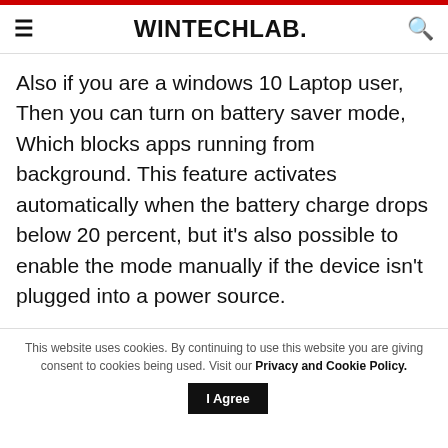WINTECHLAB.
Also if you are a windows 10 Laptop user, Then you can turn on battery saver mode, Which blocks apps running from background. This feature activates automatically when the battery charge drops below 20 percent, but it’s also possible to enable the mode manually if the device isn’t plugged into a power source.
This website uses cookies. By continuing to use this website you are giving consent to cookies being used. Visit our Privacy and Cookie Policy.